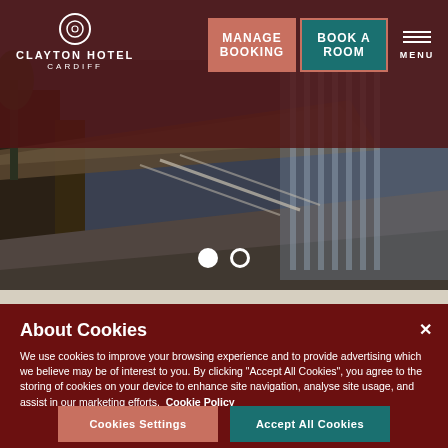CLAYTON HOTEL CARDIFF
MANAGE BOOKING
BOOK A ROOM
MENU
[Figure (photo): Exterior architectural photo of Cardiff cityscape with modern building structures, taken from ground level showing walkways and glass facades]
About Cookies
We use cookies to improve your browsing experience and to provide advertising which we believe may be of interest to you. By clicking "Accept All Cookies", you agree to the storing of cookies on your device to enhance site navigation, analyse site usage, and assist in our marketing efforts.  Cookie Policy
Cookies Settings
Accept All Cookies